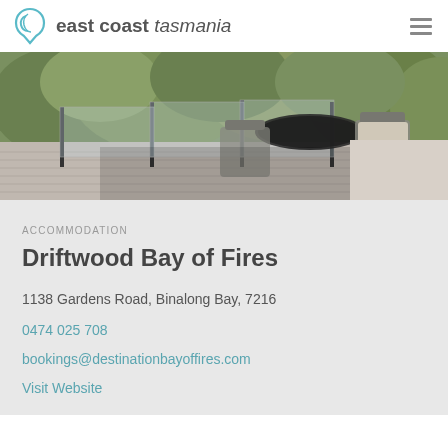east coast tasmania
[Figure (photo): Outdoor deck with dark metal table and chairs, glass railing, and green shrubs/trees in the background on a sunny day.]
ACCOMMODATION
Driftwood Bay of Fires
1138 Gardens Road, Binalong Bay, 7216
0474 025 708
bookings@destinationbayoffires.com
Visit Website